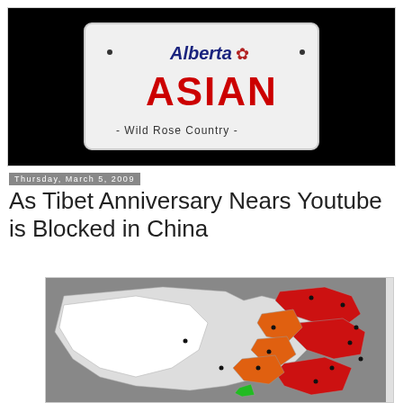[Figure (photo): Alberta license plate on black background with text 'ASIAN' and 'Wild Rose Country']
Thursday, March 5, 2009
As Tibet Anniversary Nears Youtube is Blocked in China
[Figure (map): Map of China showing regions colored in red, orange, green, white, and grey indicating various statuses related to internet blocking or protests near Tibet anniversary]